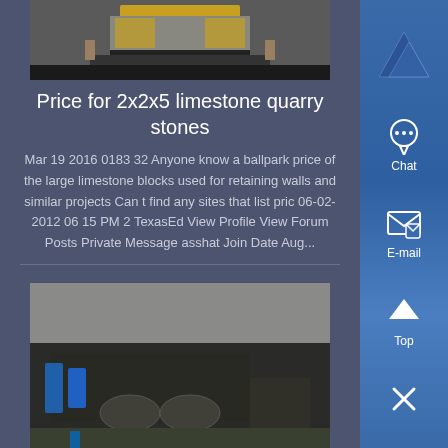[Figure (photo): Industrial machinery or equipment on a factory floor, showing a yellow/orange structure with metal parts on a dark rubber mat.]
Price for 2x2x5 limestone quarry stones
Mar 19 2016 0183 32 Anyone know a ballpark price of the large limestone blocks used for retaining walls and similar projects Can t find any sites that list pric 06-02-2012 06 15 PM 2 TexasEd View Profile View Forum Posts Private Message asshat Join Date Aug...
[Figure (photo): Industrial building interior showing large dark machinery, possibly a crusher or processing equipment, with green and blue equipment visible.]
Malaysia Limestone Malaysian Limestone Manufacturers
FOB Price Get Latest Price Min Order 10000 Supplying Ability 15000-20000 mt permth Business Type Exporters No of Employees